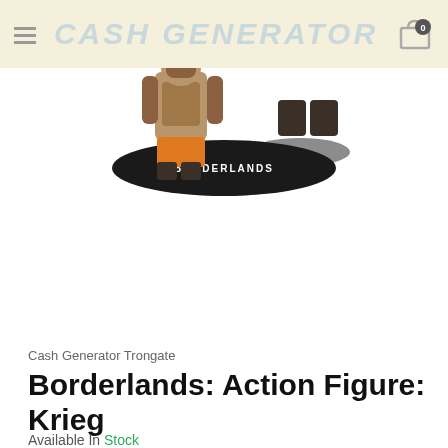CASH GENERATOR
[Figure (photo): Main product photo of Borderlands Krieg action figure on a black base with 'Borderlands' text, close-up showing upper body and feet]
[Figure (photo): Thumbnail of Borderlands Krieg action figure standalone on white background, selected (orange border)]
[Figure (photo): Thumbnail of Borderlands Krieg action figure in original packaging, shown against red background with partial text 'TH BIG']
Cash Generator Trongate
Borderlands: Action Figure: Krieg
Available In Stock